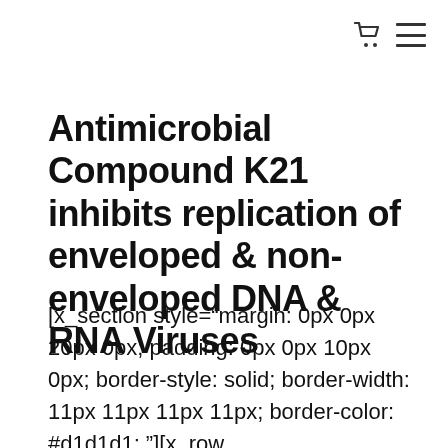[Figure (other): Navigation icons: shopping cart and hamburger menu in top right corner]
Antimicrobial Compound K21 inhibits replication of enveloped & non-enveloped DNA & RNA Viruses
[x_section style="margin: 0px 0px 20px 0px; padding: 0px 0px 10px 0px; border-style: solid; border-width: 11px 11px 11px 11px; border-color: #d1d1d1; "][x_row inner_container="true"